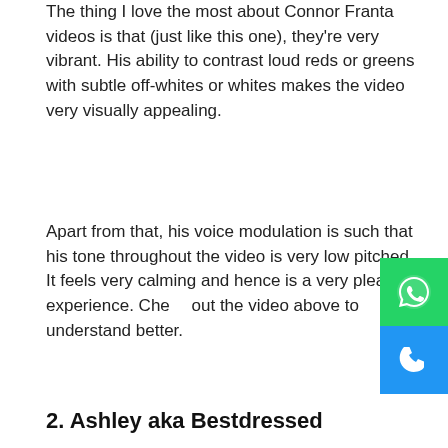The thing I love the most about Connor Franta videos is that (just like this one), they're very vibrant. His ability to contrast loud reds or greens with subtle off-whites or whites makes the video very visually appealing.
Apart from that, his voice modulation is such that his tone throughout the video is very low pitched. It feels very calming and hence is a very pleasant experience. Check out the video above to understand better.
2. Ashley aka Bestdressed
[Figure (screenshot): YouTube video thumbnail showing a young woman in front of a mirror with handwritten text overlay reading 'i'm Never PReTTy though.' with a YouTube play button in the center]